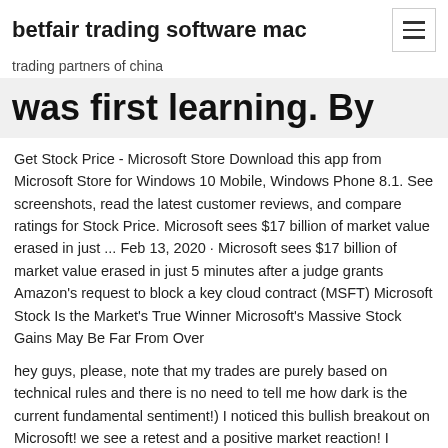betfair trading software mac
trading partners of china
was first learning. By
Get Stock Price - Microsoft Store Download this app from Microsoft Store for Windows 10 Mobile, Windows Phone 8.1. See screenshots, read the latest customer reviews, and compare ratings for Stock Price. Microsoft sees $17 billion of market value erased in just ... Feb 13, 2020 · Microsoft sees $17 billion of market value erased in just 5 minutes after a judge grants Amazon's request to block a key cloud contract (MSFT) Microsoft Stock Is the Market's True Winner Microsoft's Massive Stock Gains May Be Far From Over
hey guys, please, note that my trades are purely based on technical rules and there is no need to tell me how dark is the current fundamental sentiment!) I noticed this bullish breakout on Microsoft! we see a retest and a positive market reaction! I believe that the chances are high that the stock will grow in